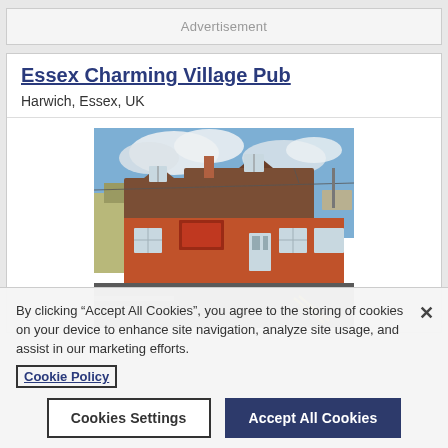Advertisement
Essex Charming Village Pub
Harwich, Essex, UK
[Figure (photo): A red-painted English village pub building at a road junction, with a car park in front, dormer windows, and blue sky with clouds]
By clicking “Accept All Cookies”, you agree to the storing of cookies on your device to enhance site navigation, analyze site usage, and assist in our marketing efforts.
Cookie Policy
Cookies Settings
Accept All Cookies